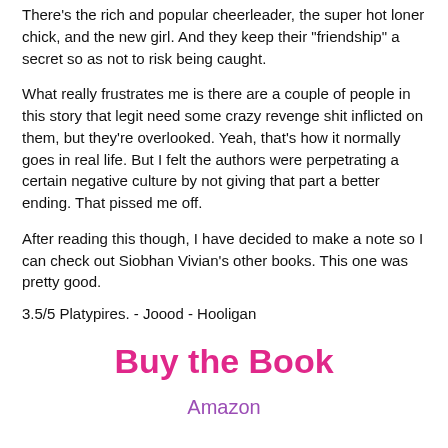There's the rich and popular cheerleader, the super hot loner chick, and the new girl.  And they keep their "friendship" a secret so as not to risk being caught.
What really frustrates me is there are a couple of people in this story that legit need some crazy revenge shit inflicted on them, but they're overlooked.  Yeah, that's how it normally goes in real life.  But I felt the authors were perpetrating a certain negative culture by not giving that part a better ending.   That pissed me off.
After reading this though, I have decided to make a note so I can check out Siobhan Vivian's other books.  This one was pretty good.
3.5/5 Platypires. - Joood - Hooligan
Buy the Book
Amazon